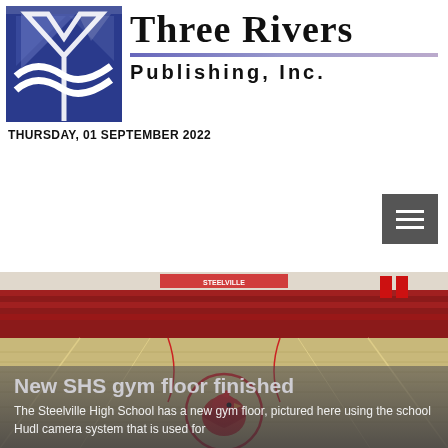[Figure (logo): Three Rivers Publishing, Inc. logo with blue and purple geometric icon on left and serif/sans text on right]
THURSDAY, 01 SEPTEMBER 2022
[Figure (other): Dark grey hamburger menu button icon with three horizontal lines]
[Figure (photo): Interior of Steelville High School gymnasium showing new hardwood floor with cardinal mascot logo at center court, red bleachers along back wall, viewed from elevated Hudl camera system angle]
New SHS gym floor finished
The Steelville High School has a new gym floor, pictured here using the school Hudl camera system that is used for